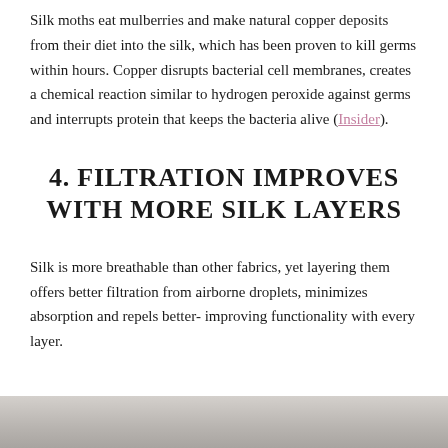Silk moths eat mulberries and make natural copper deposits from their diet into the silk, which has been proven to kill germs within hours. Copper disrupts bacterial cell membranes, creates a chemical reaction similar to hydrogen peroxide against germs and interrupts protein that keeps the bacteria alive (Insider).
4. FILTRATION IMPROVES WITH MORE SILK LAYERS
Silk is more breathable than other fabrics, yet layering them offers better filtration from airborne droplets, minimizes absorption and repels better- improving functionality with every layer.
[Figure (photo): Partial view of a person wearing a silk mask, shown from the bottom of the page]